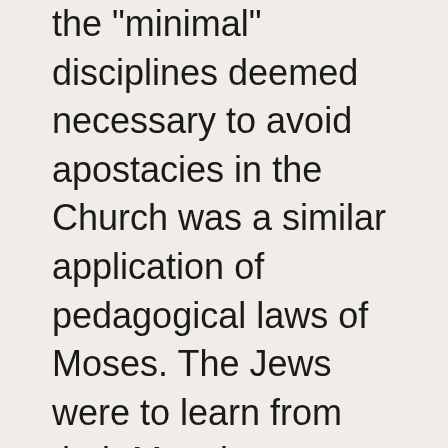the "minimal" disciplines deemed necessary to avoid apostacies in the Church was a similar application of pedagogical laws of Moses. The Jews were to learn from their Mosaic sacrifices to welcome the Christ. The Gentiles were to learn from the Mosaic morality how to conform their entire lives to the Christ.
In conclusion, as a Gentile myself, I